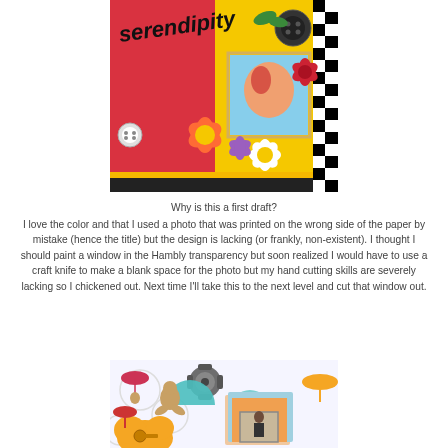[Figure (photo): Colorful scrapbook layout with red patterned paper on the left, yellow background on the right, flowers, a framed photo of a child, black and white stripes, and the word 'serendipity' written in black at the top.]
Why is this a first draft?
I love the color and that I used a photo that was printed on the wrong side of the paper by mistake (hence the title) but the design is lacking (or frankly, non-existent). I thought I should paint a window in the Hambly transparency but soon realized I would have to use a craft knife to make a blank space for the photo but my hand cutting skills are severely lacking so I chickened out. Next time I'll take this to the next level and cut that window out.
[Figure (photo): Colorful scrapbook layout with whimsical characters holding umbrellas, gears, orange cloud shapes, teal and orange patterned papers, and a small framed photo of a person.]